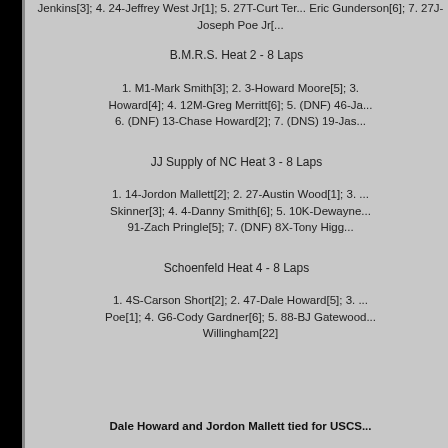Jenkins[3]; 4. 24-Jeffrey West Jr[1]; 5. 27T-Curt Ter... Eric Gunderson[6]; 7. 27J-Joseph Poe Jr[...
B.M.R.S. Heat 2 - 8 Laps
1. M1-Mark Smith[3]; 2. 3-Howard Moore[5]; 3. ... Howard[4]; 4. 12M-Greg Merritt[6]; 5. (DNF) 46-Ja... 6. (DNF) 13-Chase Howard[2]; 7. (DNS) 19-Jas...
JJ Supply of NC Heat 3 - 8 Laps
1. 14-Jordon Mallett[2]; 2. 27-Austin Wood[1]; 3. ... Skinner[3]; 4. 4-Danny Smith[6]; 5. 10K-Dewayne... 91-Zach Pringle[5]; 7. (DNF) 8X-Tony Higg...
Schoenfeld Heat 4 - 8 Laps
1. 4S-Carson Short[2]; 2. 47-Dale Howard[5]; 3. ... Poe[1]; 4. G6-Cody Gardner[6]; 5. 88-BJ Gatewood... Willingham[22]
Dale Howard and Jordon Mallett tied for USCS...